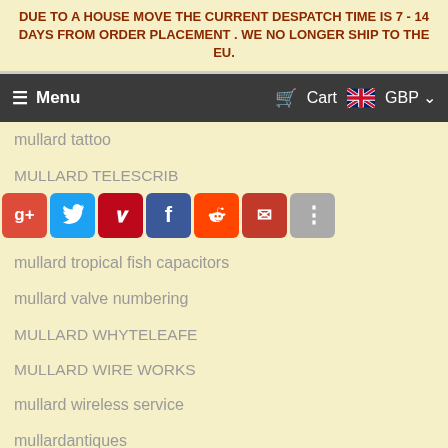DUE TO A HOUSE MOVE THE CURRENT DESPATCH TIME IS 7 - 14 DAYS FROM ORDER PLACEMENT . WE NO LONGER SHIP TO THE EU.
Menu  Cart  GBP
mullard tattoo
MULLARD TELESCRIB…
[Figure (other): Social share buttons: Google+, Twitter, Pinterest, Facebook, Reddit, Email, More]
mullard tropical fish capacitors
mullard valve numbering
MULLARD WHYTELEAFE
MULLARD WIRE WORKS
mullard wireless service
mullardantiques
mullardmagic
Mullbay
mustard cap
mustard cons